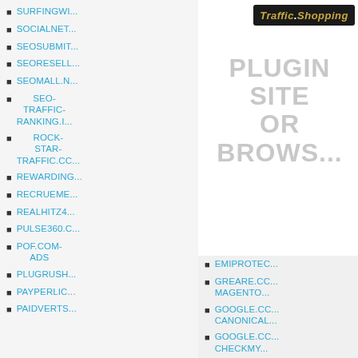SURFINGWI...
SOCIALNET...
SEOSUBMIT...
SEORESELL...
SEOMALL.N...
SEO-TRAFFIC-RANKING.I...
ROCK-STAR-TRAFFIC.CC...
REWARDING...
RECRUEME...
REALHITZ4...
PULSE360.C...
POF.COM-ADS
PLUGRUSH...
PAYPERLIC...
PAIDVERTS...
[Figure (logo): Traffic.Shopping logo in dark background with stylized gold and white text]
PLUGIN SITE OR BROWS...
EMIPROTEC...
GREARE.CC MAGENTO...
GOOGLE.CC CANONICAL...
GOOGLE.CC CHECKMY...
GOOGLE.CC LINKCLUM...
GOOGLE.CC LINKMINER...
GOOGLE.CC METASEOIN...
GOOGLE.CC...